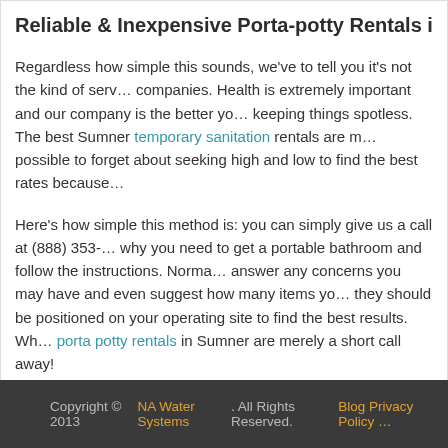Reliable & Inexpensive Porta-potty Rentals in S…
Regardless how simple this sounds, we've to tell you it's not the kind of serv… companies. Health is extremely important and our company is the better you… keeping things spotless. The best Sumner temporary sanitation rentals are m… possible to forget about seeking high and low to find the best rates because…
Here's how simple this method is: you can simply give us a call at (888) 353-… why you need to get a portable bathroom and follow the instructions. Norma… answer any concerns you may have and even suggest how many items you… they should be positioned on your operating site to find the best results. Wha… porta potty rentals in Sumner are merely a short call away!
Copyright © 2013 NA Water Systems. All Rights Reserved. Blog Privacy Policy …